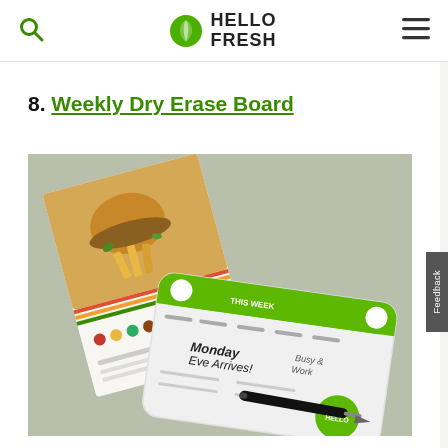HelloFresh
8. Weekly Dry Erase Board
[Figure (photo): A HelloFresh weekly dry erase board with a dry-erase marker lying next to it, and HelloFresh recipe cards in the background, all on a sage green surface.]